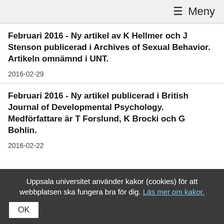≡ Meny
Februari 2016 - Ny artikel av K Hellmer och J Stenson publicerad i Archives of Sexual Behavior. Artikeln omnämnd i UNT.
2016-02-29
Februari 2016 - Ny artikel publicerad i British Journal of Developmental Psychology. Medförfattare är T Forslund, K Brocki och G Bohlin.
2016-02-22
Uppsala universitet använder kakor (cookies) för att webbplatsen ska fungera bra för dig. Läs mer om kakor.